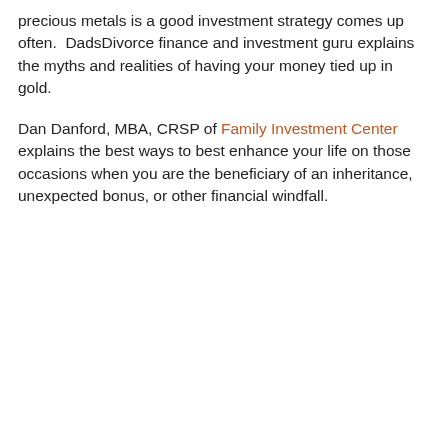precious metals is a good investment strategy comes up often.  DadsDivorce finance and investment guru explains the myths and realities of having your money tied up in gold.
Dan Danford, MBA, CRSP of Family Investment Center explains the best ways to best enhance your life on those occasions when you are the beneficiary of an inheritance, unexpected bonus, or other financial windfall.